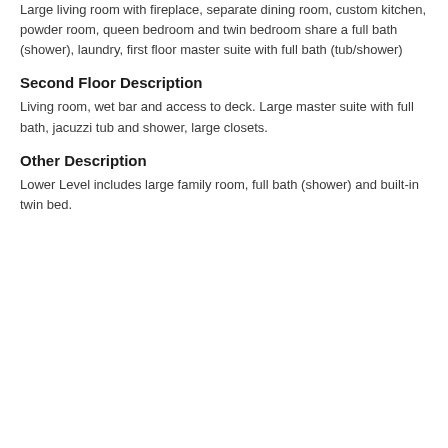Large living room with fireplace, separate dining room, custom kitchen, powder room, queen bedroom and twin bedroom share a full bath (shower), laundry, first floor master suite with full bath (tub/shower)
Second Floor Description
Living room, wet bar and access to deck. Large master suite with full bath, jacuzzi tub and shower, large closets.
Other Description
Lower Level includes large family room, full bath (shower) and built-in twin bed.